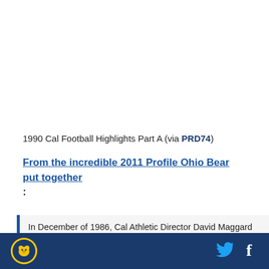1990 Cal Football Highlights Part A (via PRD74)
From the incredible 2011 Profile Ohio Bear put together:
In December of 1986, Cal Athletic Director David Maggard hired then-Los Angeles Rams assistant
[Figure (logo): Cal Bears logo in gold circle on dark blue footer bar]
[Figure (other): Twitter bird icon in light blue]
[Figure (other): Facebook f icon in white]